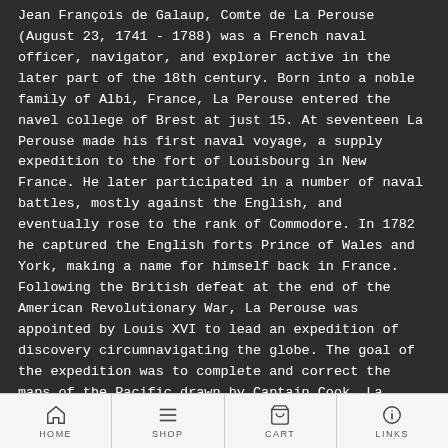Jean François de Galaup, Comte de La Perouse (August 23, 1741 - 1788) was a French naval officer, navigator, and explorer active in the later part of the 18th century. Born into a noble family of Albi, France, La Perouse entered the navel college of Brest at just 15. At seventeen La Perouse made his first naval voyage, a supply expedition to the fort of Louisbourg in New France. He later participated in a number of naval battles, mostly against the English, and eventually rose to the rank of Commodore. In 1782 he captured the English forts Prince of Wales and York, making a name for himself back in France. Following the British defeat at the end of the American Revolutionary War, La Perouse was appointed by Louis XVI to lead an expedition of discovery circumnavigating the globe. The goal of the expedition was to complete and correct the maps of the Pacific drawn by Captain Cook. La Perouse's two frigates, the Astrolabe and the Boussole rounded Cape Horn and entered the Pacific in 1785.
HOME | SHOP | CART | LINKS